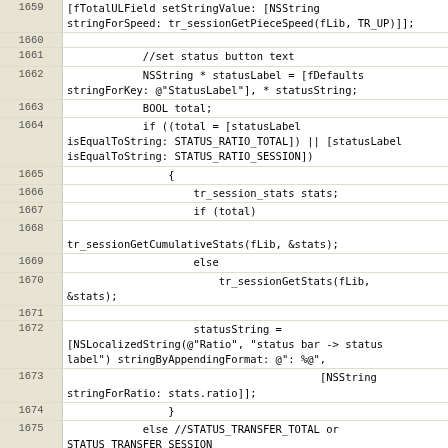[Figure (screenshot): Source code listing in Objective-C/C, lines 1659 through 1681, showing code for setting status button text including NSString, BOOL, tr_session functions, and NSLocalizedString calls.]